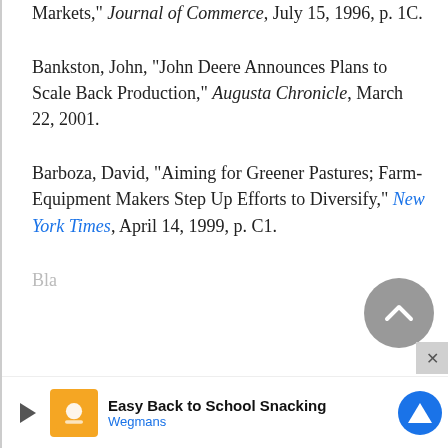Markets," Journal of Commerce, July 15, 1996, p. 1C.
Bankston, John, "John Deere Announces Plans to Scale Back Production," Augusta Chronicle, March 22, 2001.
Barboza, David, "Aiming for Greener Pastures; Farm-Equipment Makers Step Up Efforts to Diversify," New York Times, April 14, 1999, p. C1.
Bla...
[Figure (infographic): Advertisement bar: Easy Back to School Snacking - Wegmans, with play button and navigation arrow logo]